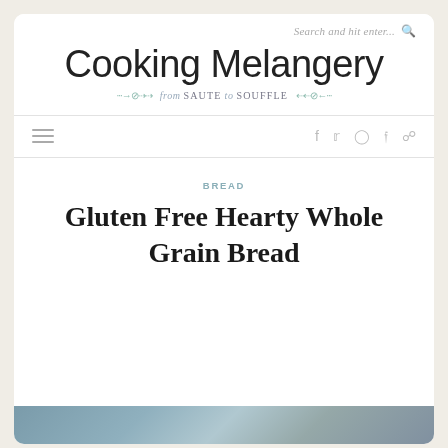Search and hit enter...
Cooking Melangery
from SAUTE to SOUFFLE
[Figure (screenshot): Navigation bar with hamburger menu icon on left and social media icons (Facebook, Twitter, Instagram, Pinterest, RSS) on right]
BREAD
Gluten Free Hearty Whole Grain Bread
[Figure (photo): Bottom strip of a bread photo, partially visible at the bottom of the page]